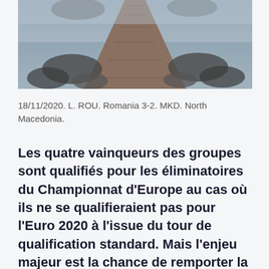[Figure (photo): A foggy wooden pier or dock extending into misty water, viewed from above at an angle. Dark rocks are visible on either side.]
18/11/2020. L. ROU. Romania 3-2. MKD. North Macedonia.
Les quatre vainqueurs des groupes sont qualifiés pour les éliminatoires du Championnat d'Europe au cas où ils ne se qualifieraient pas pour l'Euro 2020 à l'issue du tour de qualification standard. Mais l'enjeu majeur est la chance de remporter la saison inaugurale de la Ligue des